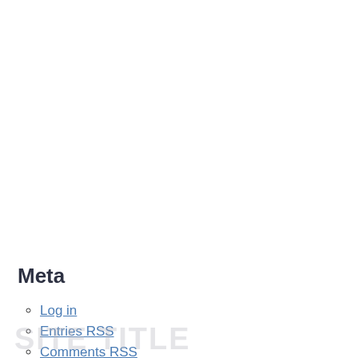Meta
Log in
Entries RSS
Comments RSS
WordPress.org